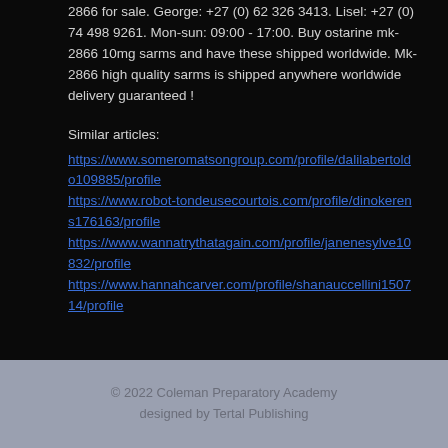2866 for sale. George: +27 (0) 62 326 3413. Lisel: +27 (0) 74 498 9261. Mon-sun: 09:00 - 17:00. Buy ostarine mk-2866 10mg sarms and have these shipped worldwide. Mk-2866 high quality sarms is shipped anywhere worldwide delivery guaranteed !
Similar articles:
https://www.someromatsongroup.com/profile/dalilabertoldo109885/profile https://www.robot-tondeusecourtois.com/profile/dinokerens176163/profile https://www.wannatrythatagain.com/profile/janenesylve10832/profile https://www.hannahcarver.com/profile/shanauccellini150714/profile
© 2022 Coleman Preparatory Academy designed by Tertal Publishing